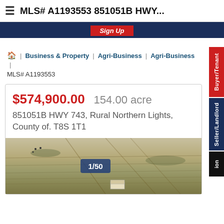MLS# A1193553 851051B HWY...
[Figure (screenshot): Red Sign Up button on navy blue banner]
🏠 | Business & Property | Agri-Business | Agri-Business |
MLS# A1193553
[Figure (infographic): Buyer/Tenant red side tab]
[Figure (infographic): Seller/Landlord navy side tab]
[Figure (infographic): Black side tab partial]
$574,900.00   154.00 acre
851051B HWY 743, Rural Northern Lights, County of. T8S 1T1
[Figure (photo): Aerial view of rural farmland with rolling fields and a small building, labeled 1/50]